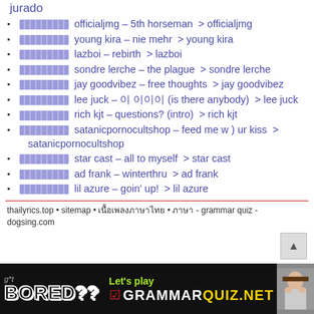jurado
officialjmg – 5th horseman  > officialjmg
young kira – nie mehr  > young kira
lazboi – rebirth  > lazboi
sondre lerche – the plague  > sondre lerche
jay goodvibez – free thoughts  > jay goodvibez
lee juck – (is there anybody)  > lee juck
rich kjt – questions? (intro)  > rich kjt
satanicpornocultshop – feed me w ) ur kiss  > satanicpornocultshop
star cast – all to myself  > star cast
ad frank – winterthru  > ad frank
lil azure – goin' up!  > lil azure
thailyrics.top • sitemap • [Thai text] • [Thai text] - grammar quiz - dogsing.com
[Figure (infographic): Ad banner: black background with 'Got BORED??' text on left, 'Let's play GRAMMARQUIZ.NET' in center with checkmark logo, photo of person on right]